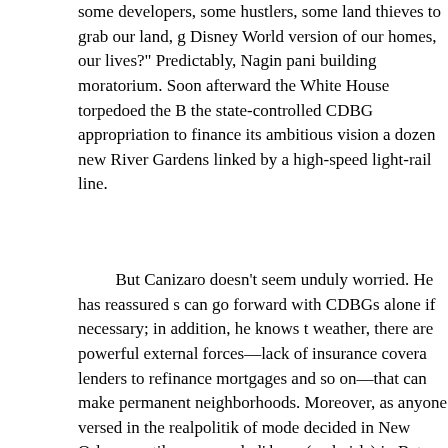some developers, some hustlers, some land thieves to grab our land, g Disney World version of our homes, our lives?" Predictably, Nagin pani building moratorium. Soon afterward the White House torpedoed the B the state-controlled CDBG appropriation to finance its ambitious vision a dozen new River Gardens linked by a high-speed light-rail line.
But Canizaro doesn't seem unduly worried. He has reassured s can go forward with CDBGs alone if necessary; in addition, he knows t weather, there are powerful external forces—lack of insurance covera lenders to refinance mortgages and so on—that can make permanent neighborhoods. Moreover, as anyone versed in the realpolitik of mode decided in New Orleans until some good ol' boys (and girls) in Baton R
Power Shift
Even before the last bloated body had been fished out of the fe analysts were writing gleeful obituaries for black Democratic power in L of victory," said Ronald Utt of the Heritage Foundation, is "living in the A the Army Corps's defective levees, the Republicans stand to gain anot seats and probably the governorship. The Democrats would also find i Clinton's 1992 feat, when he carried Louisiana by almost exactly his m With a ruthless psephologist like Karl Rove in the White House, it is inc haven't influenced the shameless Bush response to the city's distress